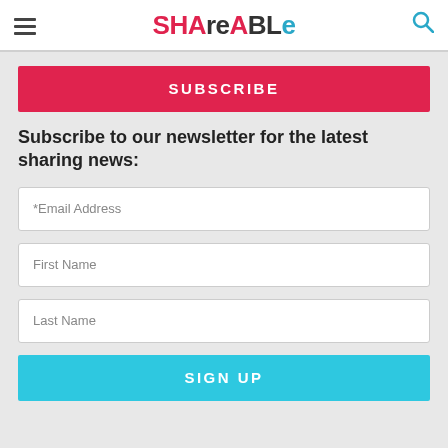SHAREABLE
SUBSCRIBE
Subscribe to our newsletter for the latest sharing news:
*Email Address
First Name
Last Name
SIGN UP